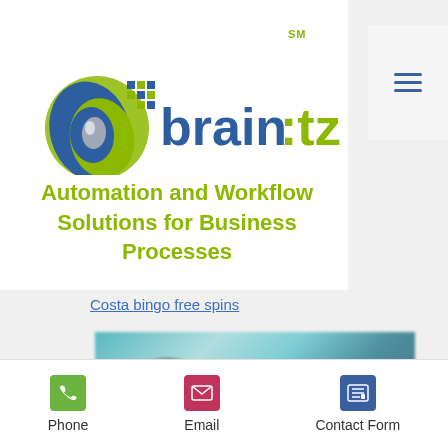[Figure (logo): brain:tz logo with spiral icon and green/blue wordmark, SM superscript]
Automation and Workflow Solutions for Business Processes
Costa bingo free spins
[Figure (photo): Blurred photo of people in a teal/blue background]
Phone  Email  Contact Form